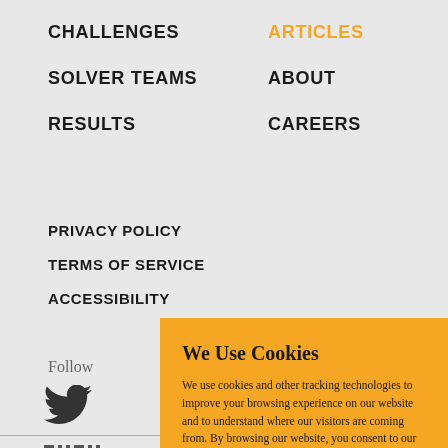CHALLENGES
ARTICLES
SOLVER TEAMS
ABOUT
RESULTS
CAREERS
PRIVACY POLICY
TERMS OF SERVICE
ACCESSIBILITY
Follow
[Figure (illustration): Twitter bird icon]
[Figure (logo): MIT logo bars]
We Use Cookies
We use cookies and other tracking technologies to improve your browsing experience on our website and to understand where our visitors are coming from. By browsing our website, you consent to our use of cookies and other tracking technologies.
ACCEPT
REJECT